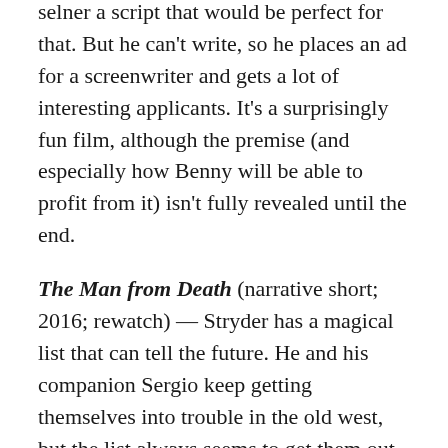selner a script that would be perfect for that. But he can't write, so he places an ad for a screenwriter and gets a lot of interesting applicants. It's a surprisingly fun film, although the premise (and especially how Benny will be able to profit from it) isn't fully revealed until the end.
The Man from Death (narrative short; 2016; rewatch) — Stryder has a magical list that can tell the future. He and his companion Sergio keep getting themselves into trouble in the old west, but the list always seems to get them out of it. It's a reasonably fun movie, but it's too stylized in a way that that quickly starts to get annoying.
The Lure (2015; first-time watch) — Silver and Golden are sisters. They're also mermaids. A nightclub owner finds them and wants to put them in a show where they sing and strip. And that's just fine with them since